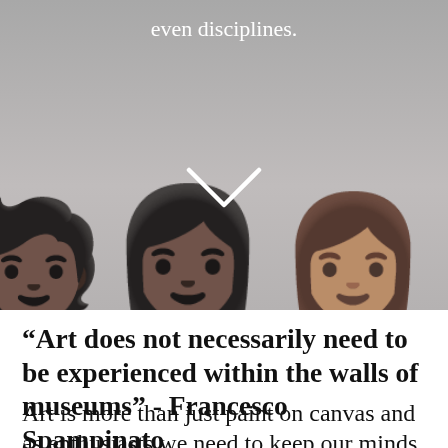[Figure (photo): Screenshot of a mobile app or webpage showing emoji figures of women with different skin tones against a gray background, with text 'even disciplines.' at top in white, and a white chevron/checkmark symbol in the center]
“Art does not necessarily need to be experienced within the walls of museums” - Francesco Spampinato
Art is more than just paint on canvas and as enthusiasts we need to keep our minds open to all artistic mediums. Art has a long and interesting history of